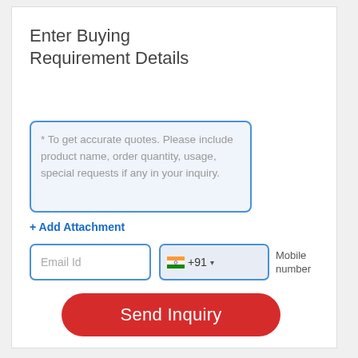Enter Buying Requirement Details
* To get accurate quotes. Please include product name, order quantity, usage, special requests if any in your inquiry.
+ Add Attachment
Email Id
+91 ▾ Mobile number
Send Inquiry